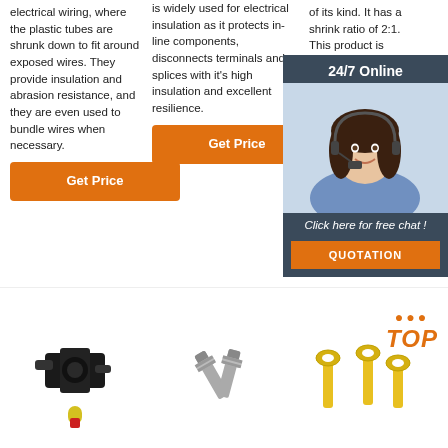electrical wiring, where the plastic tubes are shrunk down to fit around exposed wires. They provide insulation and abrasion resistance, and they are even used to bundle wires when necessary.
is widely used for electrical insulation as it protects in-line components, disconnects terminals and splices with it's high insulation and excellent resilience.
of its kind. It has a shrink ratio of 2:1. This product is extremely flexible and resistant to trapping heat, and humidity, provides exceptional protection against abrasion, chafing, and cutting.
[Figure (infographic): 24/7 Online chat overlay with a woman wearing a headset, and a QUOTATION button. Text reads: '24/7 Online', 'Click here for free chat !', 'QUOTATION'.]
[Figure (photo): Black electrical connector with yellow and red wire end]
[Figure (photo): Silver/metallic crimped ring terminals arranged diagonally]
[Figure (photo): Yellow ring terminals (three pieces) with TOP badge icon in top right corner]